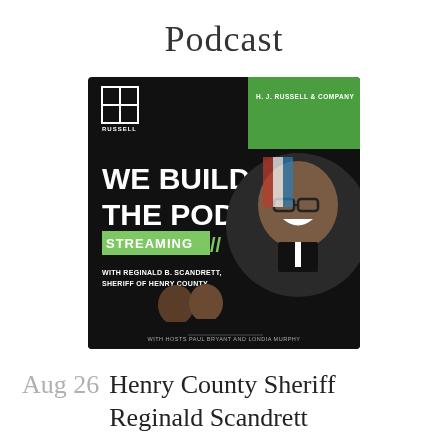Podcast
[Figure (illustration): Podcast cover art for 'We Build The Podcast' by H.J. Russell & Company. Black background with green accent. Shows text 'WE BUILD THE PODCAST' in large white bold letters, 'STREAMING' in green banner with double slash marks. Text 'WITH REGINALD B. SCANDRETT, SHERIFF OF HENRY COUNTY'. Large photo of smiling man in uniform on right side. Two hosts (Paul Bryant and Londia Murphy) in lower left. 'H. J. RUSSELL & COMPANY' text in upper right on green background. Russell logo in upper left.]
Aug 26 Henry County Sheriff Reginald Scandrett